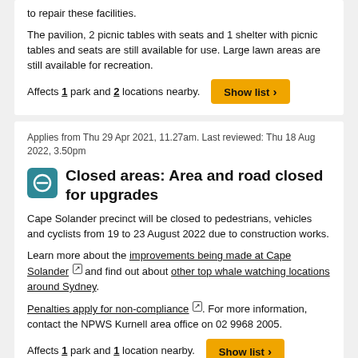to repair these facilities.
The pavilion, 2 picnic tables with seats and 1 shelter with picnic tables and seats are still available for use. Large lawn areas are still available for recreation.
Affects 1 park and 2 locations nearby.
Applies from Thu 29 Apr 2021, 11.27am. Last reviewed: Thu 18 Aug 2022, 3.50pm
Closed areas: Area and road closed for upgrades
Cape Solander precinct will be closed to pedestrians, vehicles and cyclists from 19 to 23 August 2022 due to construction works.
Learn more about the improvements being made at Cape Solander and find out about other top whale watching locations around Sydney.
Penalties apply for non-compliance. For more information, contact the NPWS Kurnell area office on 02 9968 2005.
Affects 1 park and 1 location nearby.